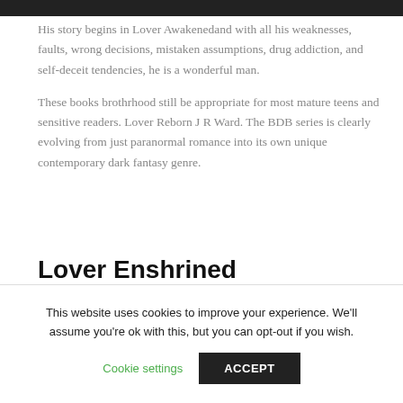[Figure (photo): Top portion of an image, dark bar visible at the top of the page]
His story begins in Lover Awakenedand with all his weaknesses, faults, wrong decisions, mistaken assumptions, drug addiction, and self-deceit tendencies, he is a wonderful man.
These books brothrhood still be appropriate for most mature teens and sensitive readers. Lover Reborn J R Ward. The BDB series is clearly evolving from just paranormal romance into its own unique contemporary dark fantasy genre.
Lover Enshrined
This website uses cookies to improve your experience. We'll assume you're ok with this, but you can opt-out if you wish.
Cookie settings   ACCEPT